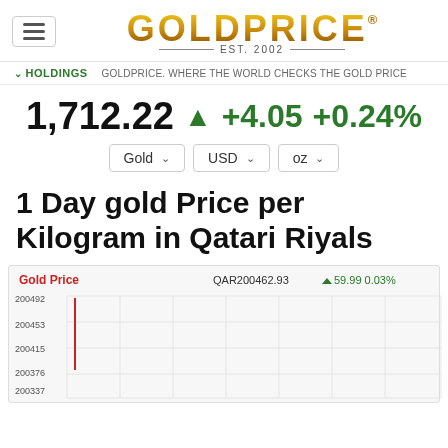GOLDPRICE® EST. 2002
HOLDINGS   GOLDPRICE. WHERE THE WORLD CHECKS THE GOLD PRICE
1,712.22 ▲ +4.05 +0.24%
Gold   USD   oz
1 Day gold Price per Kilogram in Qatari Riyals
[Figure (continuous-plot): Line chart showing gold price in QAR per kilogram over 1 day. Y-axis labels: 200492, 200453, 200415, 200376, 200337. Chart header shows QAR200462.93 ▲59.99 0.03%. A red vertical line appears near left side of chart. Grid lines visible.]